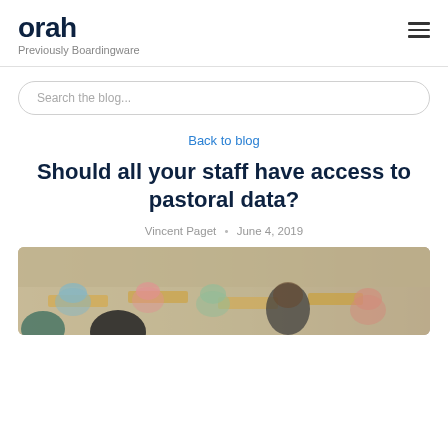orah Previously Boardingware
Search the blog...
Back to blog
Should all your staff have access to pastoral data?
Vincent Paget • June 4, 2019
[Figure (photo): Classroom scene showing students seated at desks working, viewed from behind, with teachers or staff visible in the background.]